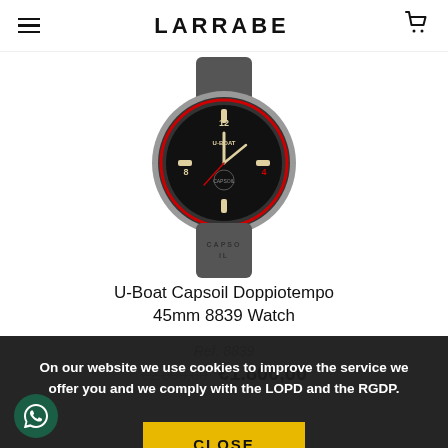LARRABE
[Figure (photo): U-Boat Capsoil Doppiotempo 45mm 8839 Watch — a round silver-cased watch with black dial, red accent ring, luminous hour markers, U-BOAT branding on dial, and dark rubber strap with text embossed]
U-Boat Capsoil Doppiotempo 45mm 8839 Watch
Ref: 8839
€1.800,00
On our website we use cookies to improve the service we offer you and we comply with the LOPD and the RGDP.
CLOSE